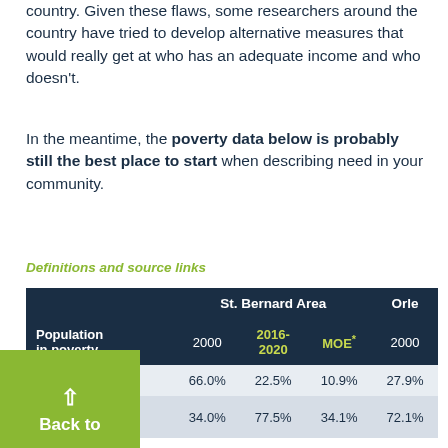country. Given these flaws, some researchers around the country have tried to develop alternative measures that would really get at who has an adequate income and who doesn't.
In the meantime, the poverty data below is probably still the best place to start when describing need in your community.
Definitions and source links
|  | St. Bernard Area |  |  | Orle |
| --- | --- | --- | --- | --- |
| Population in poverty | 2000 | 2016-2020 | MOE* | 2000 |
|  | 66.0% | 22.5% | 10.9% | 27.9% |
| People living at or | 34.0% | 77.5% | 34.1% | 72.1% |